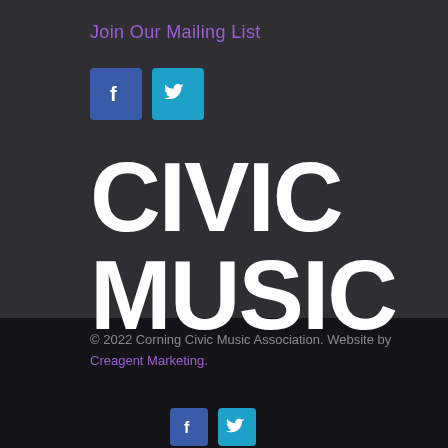Join Our Mailing List
[Figure (logo): Facebook and Twitter social media icon buttons (top)]
CIVIC MUSIC
© 2022 Corning Civic Music Association. Website by Creagent Marketing.
[Figure (logo): Facebook and Twitter social media icon buttons (bottom)]